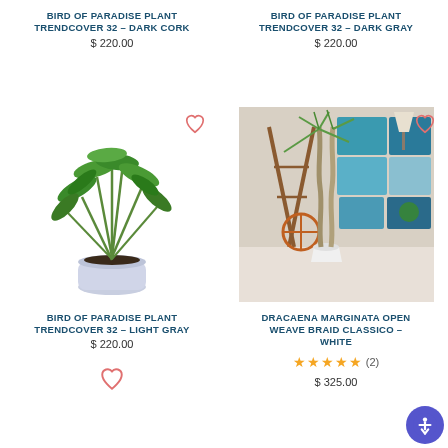BIRD OF PARADISE PLANT TRENDCOVER 32 – DARK CORK
$ 220.00
BIRD OF PARADISE PLANT TRENDCOVER 32 – DARK GRAY
$ 220.00
[Figure (photo): Bird of Paradise plant in a light gray cylindrical concrete pot on white background]
[Figure (photo): Dracaena Marginata Open Weave Braid in white tapered pot in a styled room with colorful artwork and wooden furniture]
BIRD OF PARADISE PLANT TRENDCOVER 32 – LIGHT GRAY
$ 220.00
DRACAENA MARGINATA OPEN WEAVE BRAID CLASSICO – WHITE
★★★★★ (2)
$ 325.00